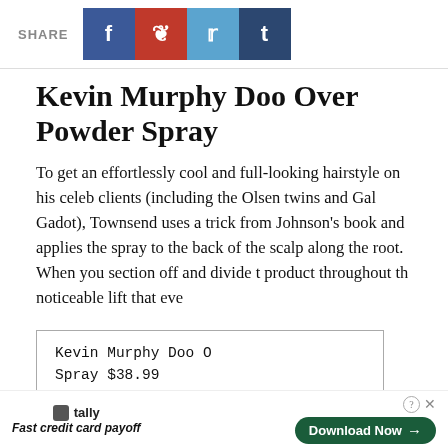SHARE [Facebook] [Pinterest] [Twitter] [Tumblr]
Kevin Murphy Doo Over Powder Spray
To get an effortlessly cool and full-looking hairstyle on his celeb clients (including the Olsen twins and Gal Gadot), Townsend uses a trick from Johnson’s book and applies the spray to the back of the scalp along the root. When you section off and divide t product throughout th noticeable lift that eve
Kevin Murphy Doo O Spray $38.99
“She sprays at the crown of her head and roughs up this area to get a natural lift,”Townsend said, adding that the
-->
[Figure (infographic): Advertisement bar: Tally app logo and 'Fast credit card payoff' text on left, Download Now button on right with help and close icons]